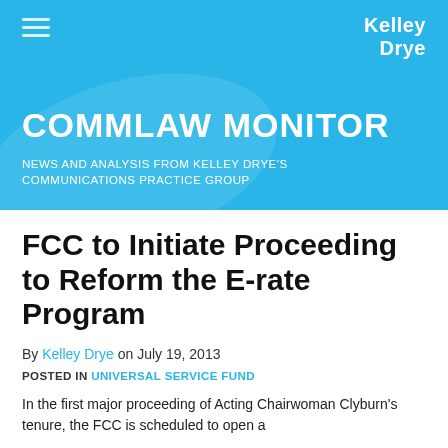COMMLAW MONITOR — NEWS AND ANALYSIS FROM KELLEY DRYE'S COMMUNICATIONS PRACTICE GROUP
FCC to Initiate Proceeding to Reform the E-rate Program
By Kelley Drye on July 19, 2013
POSTED IN UNIVERSAL SERVICE FUND
In the first major proceeding of Acting Chairwoman Clyburn's tenure, the FCC is scheduled to open a